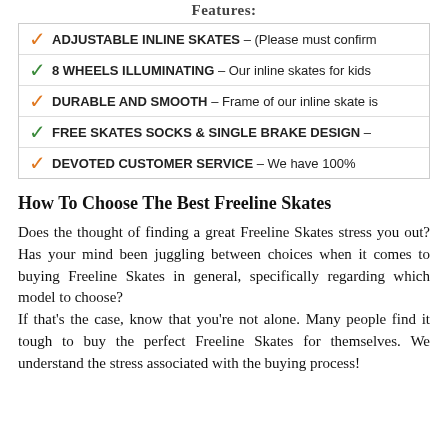Features:
ADJUSTABLE INLINE SKATES – (Please must confirm
8 WHEELS ILLUMINATING – Our inline skates for kids
DURABLE AND SMOOTH – Frame of our inline skate is
FREE SKATES SOCKS & SINGLE BRAKE DESIGN –
DEVOTED CUSTOMER SERVICE – We have 100%
How To Choose The Best Freeline Skates
Does the thought of finding a great Freeline Skates stress you out? Has your mind been juggling between choices when it comes to buying Freeline Skates in general, specifically regarding which model to choose?
If that's the case, know that you're not alone. Many people find it tough to buy the perfect Freeline Skates for themselves. We understand the stress associated with the buying process!